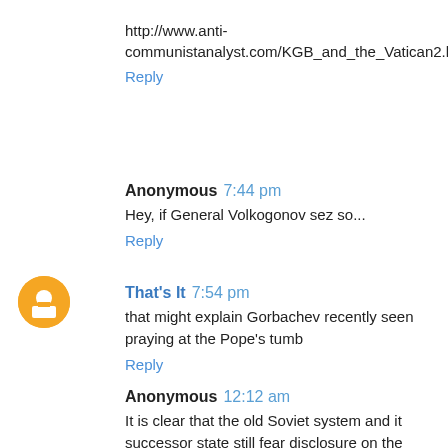http://www.anti-communistanalyst.com/KGB_and_the_Vatican2.html
Reply
Anonymous 7:44 pm
Hey, if General Volkogonov sez so...
Reply
That's It 7:54 pm
that might explain Gorbachev recently seen praying at the Pope's tumb
Reply
Anonymous 12:12 am
It is clear that the old Soviet system and it successor state still fear disclosure on the failed attempt on the Pope's life.